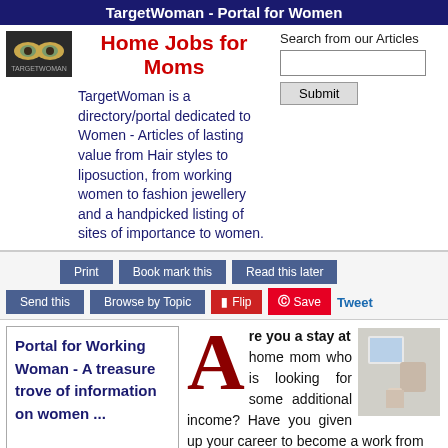TargetWoman - Portal for Women
Home Jobs for Moms
TargetWoman is a directory/portal dedicated to Women - Articles of lasting value from Hair styles to liposuction, from working women to fashion jewellery and a handpicked listing of sites of importance to women.
Search from our Articles
Print
Book mark this
Read this later
Send this
Browse by Topic
Flip
Save
Tweet
Portal for Working Woman - A treasure trove of information on women ...
Are you a stay at home mom who is looking for some additional income? Have you given up your career to become a work from